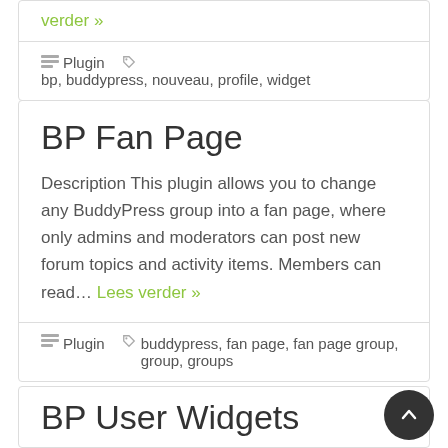verder »
Plugin  bp, buddypress, nouveau, profile, widget
BP Fan Page
Description This plugin allows you to change any BuddyPress group into a fan page, where only admins and moderators can post new forum topics and activity items. Members can read... Lees verder »
Plugin  buddypress, fan page, fan page group, group, groups
BP User Widgets